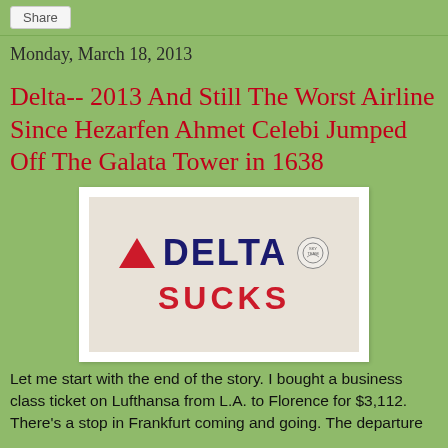Share
Monday, March 18, 2013
Delta-- 2013 And Still The Worst Airline Since Hezarfen Ahmet Celebi Jumped Off The Galata Tower in 1638
[Figure (photo): Photo of a Delta Airlines branded surface with 'DELTA SUCKS' written on it — Delta logo with triangle and wordmark, plus SkyTeam badge, above the words SUCKS in red bold letters.]
Let me start with the end of the story. I bought a business class ticket on Lufthansa from L.A. to Florence for $3,112. There's a stop in Frankfurt coming and going. The departure